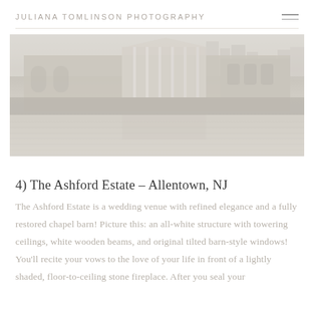JULIANA TOMLINSON PHOTOGRAPHY
[Figure (photo): Wide photograph of a neoclassical stone building with columns and arched windows, reflected in a body of water in the foreground, with a city skyline visible in the background. Soft, pale, muted tones.]
4) The Ashford Estate – Allentown, NJ
The Ashford Estate is a wedding venue with refined elegance and a fully restored chapel barn! Picture this: an all-white structure with towering ceilings, white wooden beams, and original tilted barn-style windows! You'll recite your vows to the love of your life in front of a lightly shaded, floor-to-ceiling stone fireplace. After you seal your